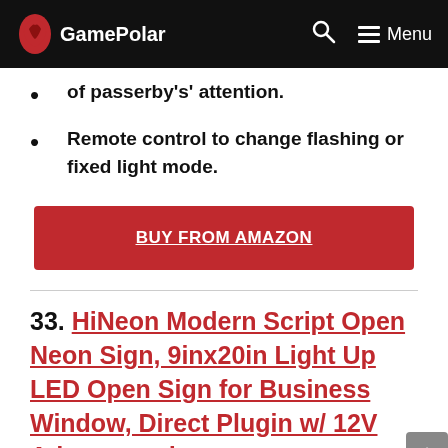GamePolar — Menu
of passerby's' attention.
Remote control to change flashing or fixed light mode.
BUY FROM AMAZON
33. HiNeon Modern Script Open Neon Sign, 9inx20in Light Up LED Open Sign for Business Window, Direct Plugin w/ 12V Adapter and